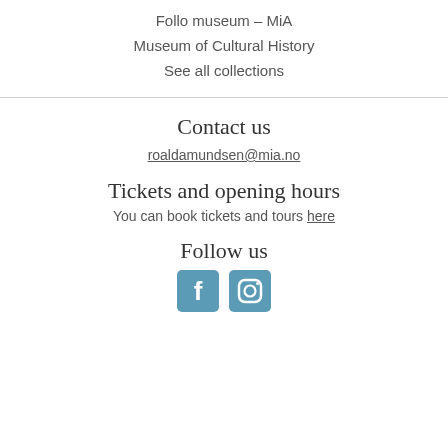Follo museum – MiA
Museum of Cultural History
See all collections
Contact us
roaldamundsen@mia.no
Tickets and opening hours
You can book tickets and tours here
Follow us
[Figure (other): Facebook and Instagram social media icons in teal/blue color]